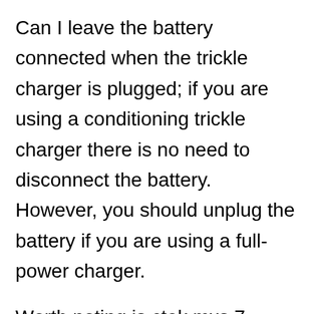Can I leave the battery connected when the trickle charger is plugged; if you are using a conditioning trickle charger there is no need to disconnect the battery. However, you should unplug the battery if you are using a full-power charger.
Worth noting is ctek mxs 7 instructions and ctek comfort